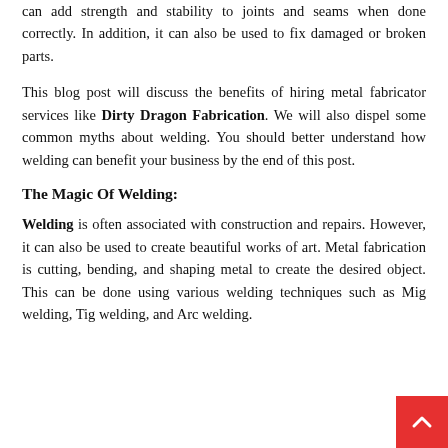can add strength and stability to joints and seams when done correctly. In addition, it can also be used to fix damaged or broken parts.
This blog post will discuss the benefits of hiring metal fabricator services like Dirty Dragon Fabrication. We will also dispel some common myths about welding. You should better understand how welding can benefit your business by the end of this post.
The Magic Of Welding:
Welding is often associated with construction and repairs. However, it can also be used to create beautiful works of art. Metal fabrication is cutting, bending, and shaping metal to create the desired object. This can be done using various welding techniques such as Mig welding, Tig welding, and Arc welding.